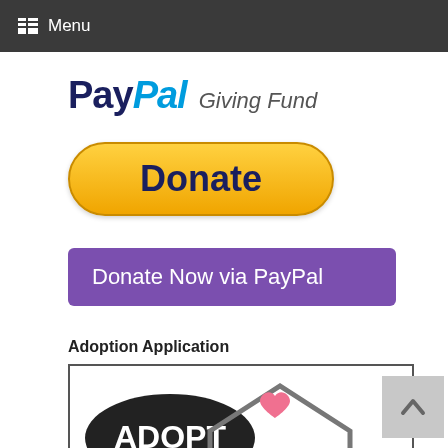Menu
[Figure (logo): PayPal Giving Fund logo with stylized PayPal text and Giving Fund text]
[Figure (other): Yellow rounded Donate button with dark navy bold text]
[Figure (other): Purple rectangular Donate Now via PayPal button]
Adoption Application
[Figure (illustration): Adopt illustration showing ADOPT text in black oval, house outline, pink heart, and cat ear silhouettes]